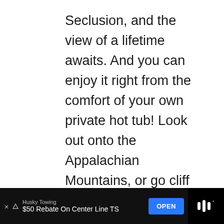Seclusion, and the view of a lifetime awaits. And you can enjoy it right from the comfort of your own private hot tub! Look out onto the Appalachian Mountains, or go cliff jumping into the secret swimming hole nearby.
[Figure (screenshot): Red heart/like button circle and share button circle overlaid on the right side of the text]
[Figure (infographic): What's Next panel with thumbnail image and text 'The Best Glamping In...']
[Figure (screenshot): Advertisement bar at the bottom: Husky Towing, $50 Rebate On Center Line TS, OPEN button]